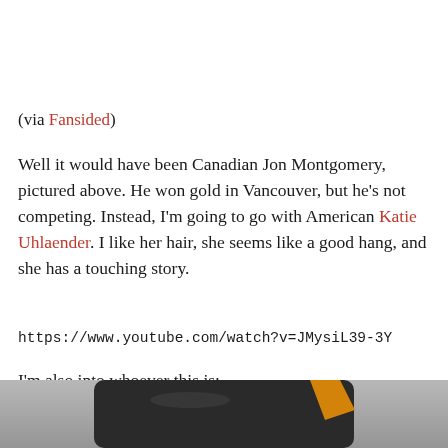(via Fansided)
Well it would have been Canadian Jon Montgomery, pictured above. He won gold in Vancouver, but he's not competing. Instead, I'm going to go with American Katie Uhlaender. I like her hair, she seems like a good hang, and she has a touching story.
https://www.youtube.com/watch?v=JMysiL39-3Y
I'm also into whoever this is:
[Figure (photo): Bottom portion of page showing the top of a dark helmet with an orange accent, partially visible against a grey background.]